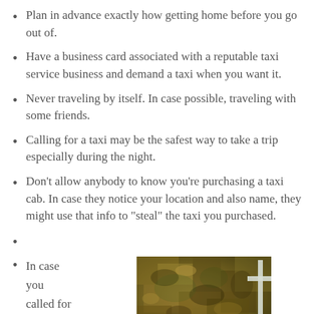Plan in advance exactly how getting home before you go out of.
Have a business card associated with a reputable taxi service business and demand a taxi when you want it.
Never traveling by itself. In case possible, traveling with some friends.
Calling for a taxi may be the safest way to take a trip especially during the night.
Don’t allow anybody to know you’re purchasing a taxi cab. In case they notice your location and also name, they might use that info to “steal” the taxi you purchased.
In case you called for
[Figure (photo): A photo of rough stone or bark texture with golden/brown tones and a white cross visible on the right side.]